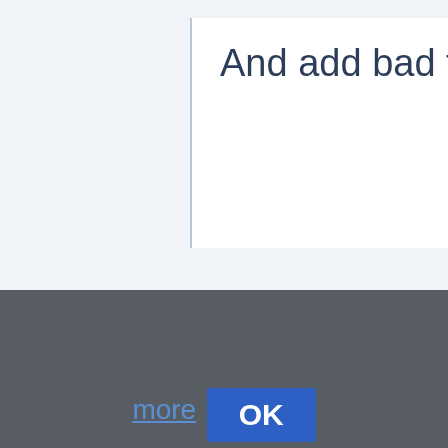And add bad food on top
Cookies help us deliver our services. By using our services, you agree to our use of cookies. Learn more OK